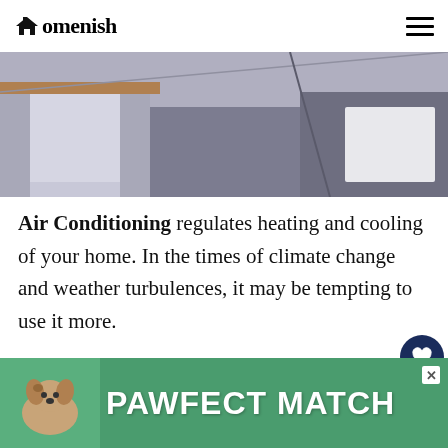Homenish
[Figure (photo): Interior room corner with grey walls, curtains on window, and white panel radiator or AC unit]
Air Conditioning regulates heating and cooling of your home. In the times of climate change and weather turbulences, it may be tempting to use it more.
The other thing might be that we got a bit spoiled the United Kingdom, it is estimated that today, homes are heated to at least 4 degrees C warm than in the 1970s, which adds up to a massive energy...